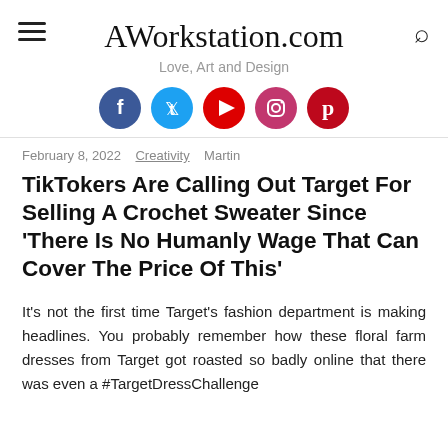AWorkstation.com
Love, Art and Design
[Figure (infographic): Social media icons row: Facebook (blue circle), Twitter (light blue circle), YouTube (red circle), Instagram (pink/magenta circle), Pinterest (dark red circle)]
February 8, 2022   Creativity   Martin
TikTokers Are Calling Out Target For Selling A Crochet Sweater Since ‘There Is No Humanly Wage That Can Cover The Price Of This’
It’s not the first time Target’s fashion department is making headlines. You probably remember how these floral farm dresses from Target got roasted so badly online that there was even a #TargetDressChallenge